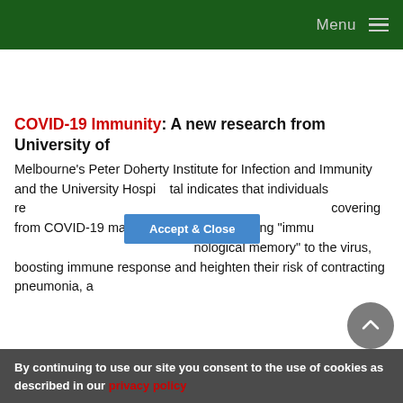Menu
COVID-19 Immunity: A new research from University of Melbourne's Peter Doherty Institute for Infection and Immunity and the University Hospital indicates that individuals recovering from COVID-19 may develop a long-lasting "immunological memory" to the virus, boosting immune response and heighten their risk of contracting pneumonia, a
By continuing to use our site you consent to the use of cookies as described in our privacy policy
Accept & Close